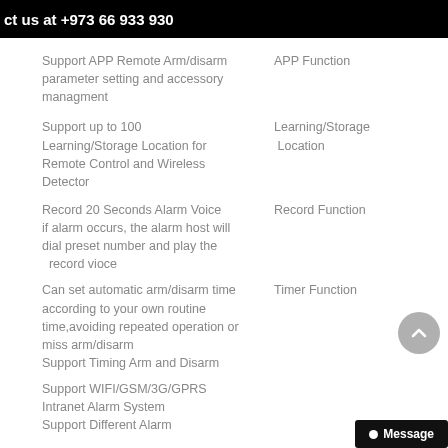ct us at +973 66 933 930
Support APP Remote Arm/disarm parameter setting and accessory managment
APP Function
Support up to 100 Learning/Storage Location for Remote Control and Wireless Detector
Learning/Storage Location
Record 20 Seconds Alarm Voice if alarm occurs, the alarm host will dial preset number and play the record vioce
Record Function
Can set automatic arm/disarm time according to your own routine time,avoiding repeated operation or miss arm/disarm
Support Timing Arm and Disarm
Timer Function
Support WIFI/GSM/3G/GPRS
Intranet Alarm System
Support Different Alarm